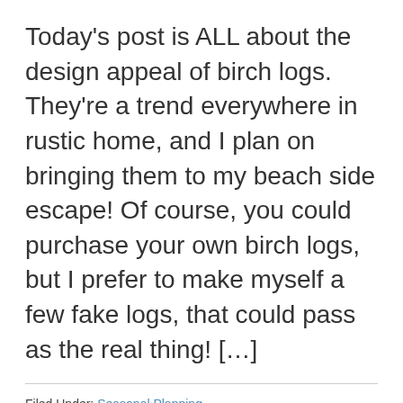Today's post is ALL about the design appeal of birch logs. They're a trend everywhere in rustic home, and I plan on bringing them to my beach side escape! Of course, you could purchase your own birch logs, but I prefer to make myself a few fake logs, that could pass as the real thing! […]
Filed Under: Seasonal Planning
Tagged With: Birch Logs, DIY, DIY holiday, DIY Home Decor, Fake Birch Logs